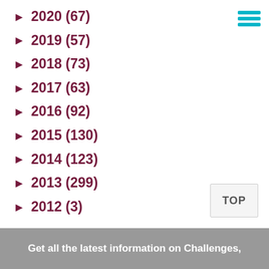[Figure (other): Teal/cyan hamburger menu icon with three horizontal lines]
► 2020 (67)
► 2019 (57)
► 2018 (73)
► 2017 (63)
► 2016 (92)
► 2015 (130)
► 2014 (123)
► 2013 (299)
► 2012 (3)
TOP
Get all the latest information on Challenges,